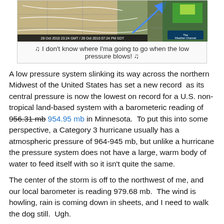[Figure (screenshot): Weather Channel radar/map image showing a low pressure system moving across the northern US Midwest, dated 28 Oct 2010 23:24 GMT / 28 Oct 2010 07:24 PM EDT]
♫ I don't know where I'ma going to go when the low pressure blows! ♫
A low pressure system slinking its way across the northern Midwest of the United States has set a new record as its central pressure is now the lowest on record for a U.S. non-tropical land-based system with a barometeric reading of 956.31 mb 954.95 mb in Minnesota. To put this into some perspective, a Category 3 hurricane usually has a atmospheric pressure of 964-945 mb, but unlike a hurricane the pressure system does not have a large, warm body of water to feed itself with so it isn't quite the same.
The center of the storm is off to the northwest of me, and our local barometer is reading 979.68 mb. The wind is howling, rain is coming down in sheets, and I need to walk the dog still. Ugh.
Update: Walked the dog. So at least that is out of the way.
A conversation about this storm? So the reason the...